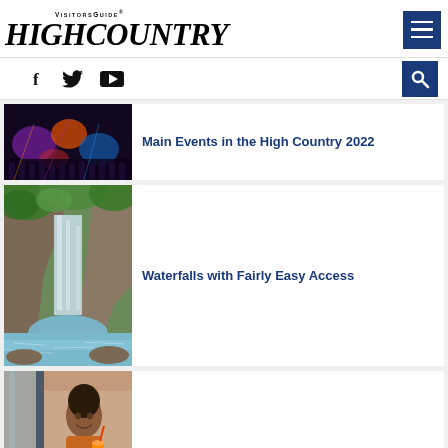[Figure (logo): High Country Visitors Guide logo - italic serif bold text with VisitorsGuide above]
[Figure (infographic): Navigation menu hamburger icon button, dark blue background with three white horizontal lines]
[Figure (infographic): Social media icons: Facebook (f), Twitter (bird), YouTube (play button triangle), and search magnifying glass icon]
[Figure (photo): Partially visible article card with festival/concert photo showing colorful lights and crowd at night]
Main Events in the High Country 2022
[Figure (photo): Waterfall in rocky gorge with lush green trees, long exposure water blur, river in foreground]
Waterfalls with Fairly Easy Access
[Figure (photo): Woman drinking an orange beverage, shopping scene, indoors]
Discover the Distinctive Shops of the High Country